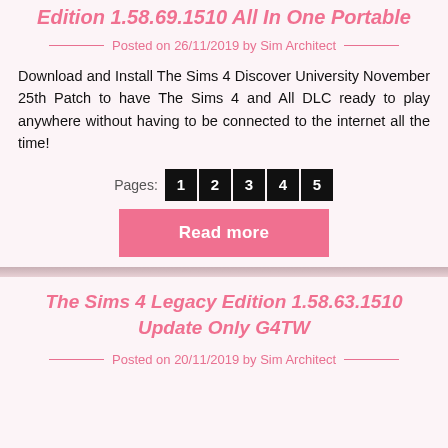Edition 1.58.69.1510 All In One Portable
Posted on 26/11/2019 by Sim Architect
Download and Install The Sims 4 Discover University November 25th Patch to have The Sims 4 and All DLC ready to play anywhere without having to be connected to the internet all the time!
Pages: 1 2 3 4 5
Read more
The Sims 4 Legacy Edition 1.58.63.1510 Update Only G4TW
Posted on 20/11/2019 by Sim Architect